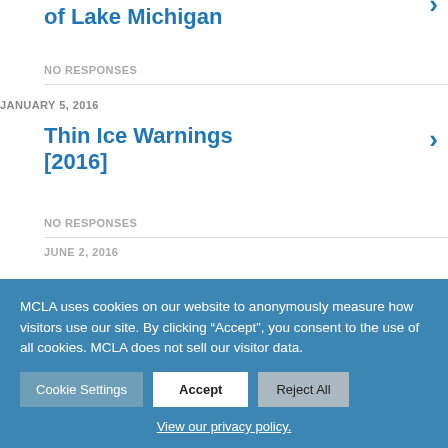of Lake Michigan
NO RESPONSES
JANUARY 5, 2016
Thin Ice Warnings [2016]
NO RESPONSES
JUNE 2, 2016
MCLA uses cookies on our website to anonymously measure how visitors use our site. By clicking “Accept”, you consent to the use of all cookies. MCLA does not sell our visitor data.
Cookie Settings | Accept | Reject All
View our privacy policy.